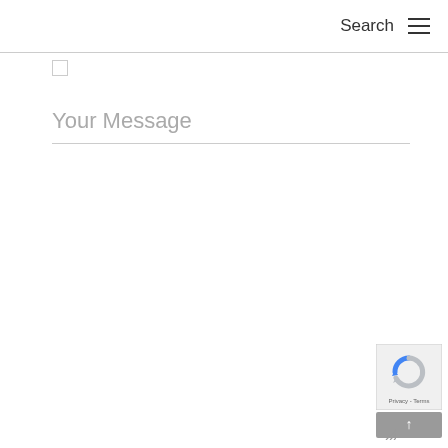Search ☰
Your Message
[Figure (screenshot): reCAPTCHA badge with recaptcha icon and Privacy - Terms text]
[Figure (other): Scroll to top button with up arrow]